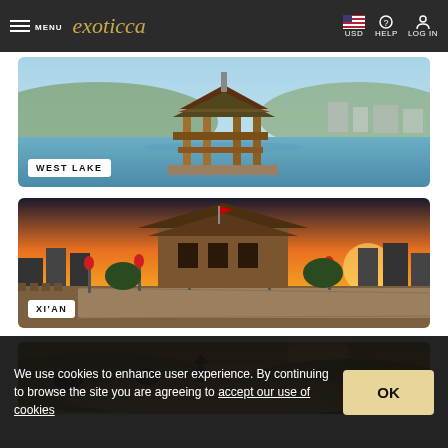MENU | exoticca | USD | HELP | LOG IN
[Figure (photo): West Lake pagoda/pavilion on water with hills and city in background, blue sky]
WEST LAKE
[Figure (photo): Xi'an city wall at sunset with traditional gate tower and red lanterns lining the wall]
XI'AN
[Figure (photo): Aerial view of river through Chinese city at golden sunset]
We use cookies to enhance user experience. By continuing to browse the site you are agreeing to accept our use of cookies